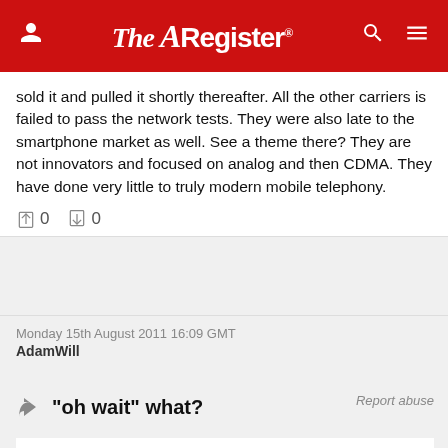The Register
sold it and pulled it shortly thereafter. All the other carriers is failed to pass the network tests. They were also late to the smartphone market as well. See a theme there? They are not innovators and focused on analog and then CDMA. They have done very little to truly modern mobile telephony.
↑0  ↓0
Monday 15th August 2011 16:09 GMT
AdamWill
Report abuse
"oh wait" what?
Meego is the angle I thought of. I dunno what your "oh wait" was - Nokia dropped out, but Meego's still running. Admittedly mostly from an IVI and tablet angle, but this could well give at least one other major handset manufacturer sufficient